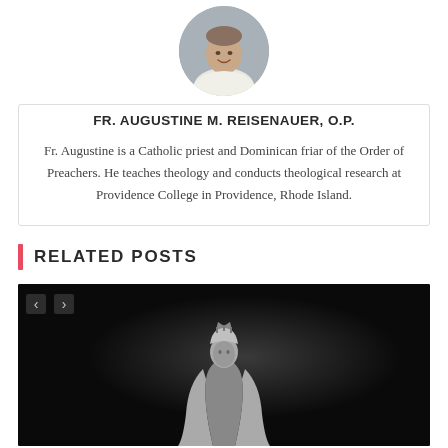[Figure (photo): Circular headshot of Fr. Augustine M. Reisenauer, a smiling man in white Dominican habit, with a blurred background]
FR. AUGUSTINE M. REISENAUER, O.P.
Fr. Augustine is a Catholic priest and Dominican friar of the Order of Preachers. He teaches theology and conducts theological research at Providence College in Providence, Rhode Island.
RELATED POSTS
[Figure (photo): Black and white photograph of a crowned Virgin Mary statue against a dark background]